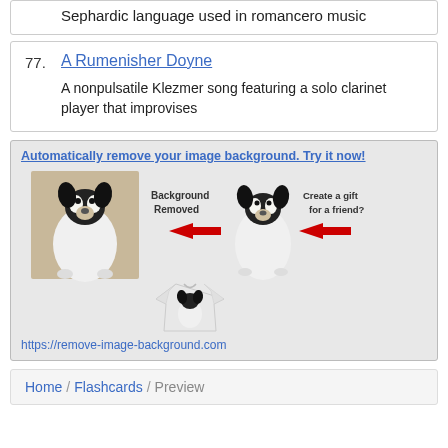Sephardic language used in romancero music
77. A Rumenisher Doyne — A nonpulsatile Klezmer song featuring a solo clarinet player that improvises
[Figure (infographic): Advertisement for remove-image-background.com showing a dog photo with background removed and placed on a t-shirt. Text: 'Automatically remove your image background. Try it now!' and URL https://remove-image-background.com]
Home / Flashcards / Preview